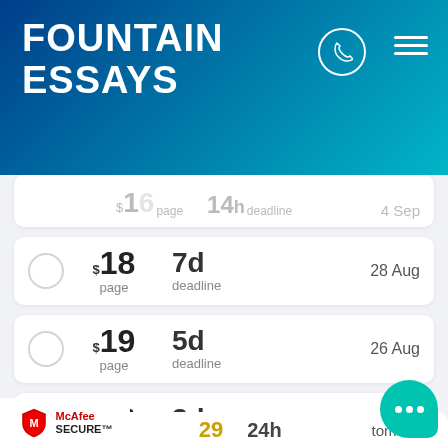FOUNTAIN ESSAYS
$18/page · 7d deadline · 28 Aug
$19/page · 5d deadline · 26 Aug
$22/page · 3d deadline · 24 Aug
$26/page · 2d deadline · 23 Aug
$29/page · 24h deadline · tomorrow